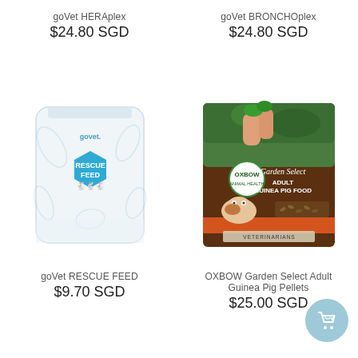goVet HERAplex
$24.80 SGD
goVet BRONCHOplex
$24.80 SGD
[Figure (photo): goVet Rescue Feed product bag — white pouch with blue hexagonal label reading RESCUE FEED with rabbit illustrations]
[Figure (photo): OXBOW Garden Select Adult Guinea Pig Food bag — brown bag with image of person holding herbs and a guinea pig, veterinarians recommended]
goVet RESCUE FEED
$9.70 SGD
OXBOW Garden Select Adult Guinea Pig Pellets
$25.00 SGD